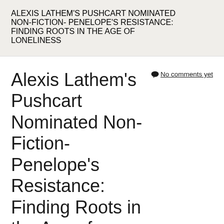ALEXIS LATHEM'S PUSHCART NOMINATED NON-FICTION- PENELOPE'S RESISTANCE: FINDING ROOTS IN THE AGE OF LONELINESS
Alexis Lathem's Pushcart Nominated Non-Fiction- Penelope's Resistance: Finding Roots in the Age of Loneliness
No comments yet
Posted on December 11, 2021   Posted By: Jake Heelein